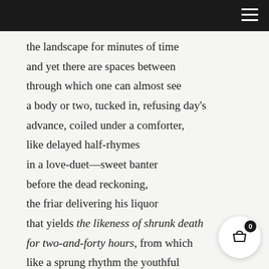the landscape for minutes of time
and yet there are spaces between
through which one can almost see
a body or two, tucked in, refusing day's
advance, coiled under a comforter,
like delayed half-rhymes
in a love-duet—sweet banter
before the dead reckoning,
the friar delivering his liquor
that yields the likeness of shrunk death
for two-and-forty hours, from which
like a sprung rhythm the youthful
one will spring up again …
if only. The day is like a Guthrie